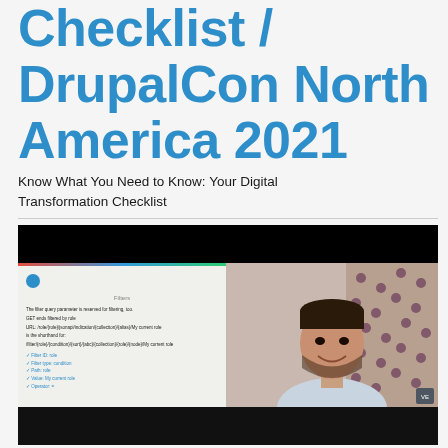Checklist / DrupalCon North America 2021
Know What You Need to Know: Your Digital Transformation Checklist
[Figure (screenshot): Video screenshot showing a split screen: left side shows a presentation slide with checklist items and code/URL text, right side shows a person (presenter) smiling at camera with a patterned curtain background. The video has black bars at top and bottom.]